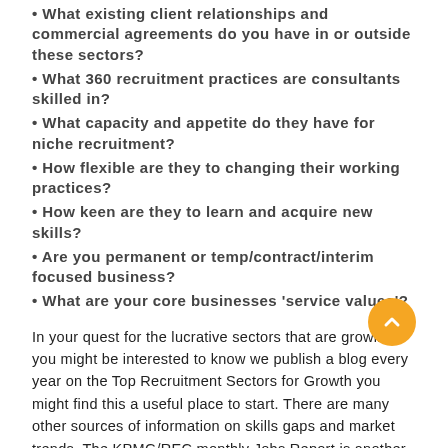• What existing client relationships and commercial agreements do you have in or outside these sectors?
• What 360 recruitment practices are consultants skilled in?
• What capacity and appetite do they have for niche recruitment?
• How flexible are they to changing their working practices?
• How keen are they to learn and acquire new skills?
• Are you permanent or temp/contract/interim focused business?
• What are your core businesses 'service values'?
In your quest for the lucrative sectors that are growing, you might be interested to know we publish a blog every year on the Top Recruitment Sectors for Growth you might find this a useful place to start. There are many other sources of information on skills gaps and market trends. The KPMG/REC monthly Jobs Report is another good place to keep tabs on.